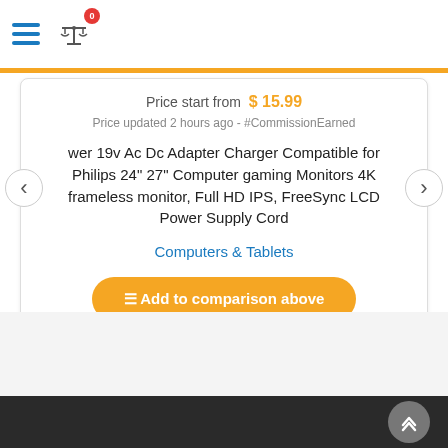Navigation bar with hamburger menu and compare icon with badge 0
Price start from  $ 15.99
Price updated 2 hours ago - #CommissionEarned
wer 19v Ac Dc Adapter Charger Compatible for Philips 24" 27" Computer gaming Monitors 4K frameless monitor, Full HD IPS, FreeSync LCD Power Supply Cord
Computers & Tablets
Add to comparison above
Dark footer with scroll-to-top button